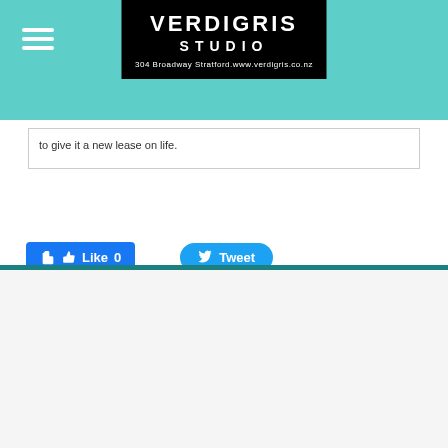VERDIGRIS STUDIO
304 Broadway Stratford.www.verdigris.co.nz
to give it a new lease on life.
[Figure (screenshot): Facebook Like button (Like 0) and Twitter Tweet button]